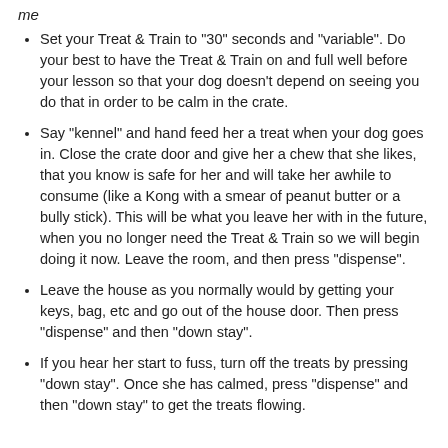me
Set your Treat & Train to "30" seconds and "variable". Do your best to have the Treat & Train on and full well before your lesson so that your dog doesn't depend on seeing you do that in order to be calm in the crate.
Say "kennel" and hand feed her a treat when your dog goes in. Close the crate door and give her a chew that she likes, that you know is safe for her and will take her awhile to consume (like a Kong with a smear of peanut butter or a bully stick). This will be what you leave her with in the future, when you no longer need the Treat & Train so we will begin doing it now. Leave the room, and then press "dispense".
Leave the house as you normally would by getting your keys, bag, etc and go out of the house door. Then press "dispense" and then "down stay".
If you hear her start to fuss, turn off the treats by pressing "down stay". Once she has calmed, press "dispense" and then "down stay" to get the treats flowing.